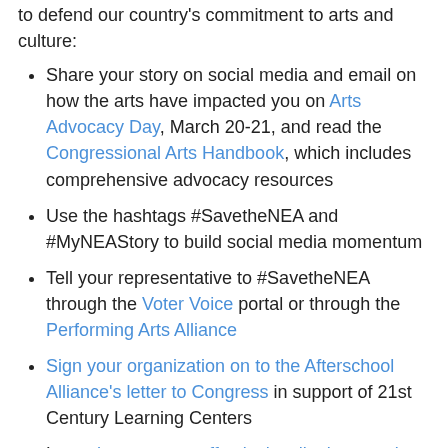to defend our country's commitment to arts and culture:
Share your story on social media and email on how the arts have impacted you on Arts Advocacy Day, March 20-21, and read the Congressional Arts Handbook, which includes comprehensive advocacy resources
Use the hashtags #SavetheNEA and #MyNEAStory to build social media momentum
Tell your representative to #SavetheNEA through the Voter Voice portal or through the Performing Arts Alliance
Sign your organization on to the Afterschool Alliance's letter to Congress in support of 21st Century Learning Centers
Learn how to most effectively talk about saving the NEA
Learn about this year's upcoming advocacy opportunities from League of American Orchestras